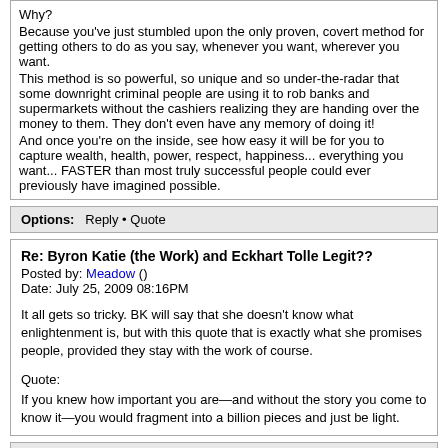Why?
Because you've just stumbled upon the only proven, covert method for getting others to do as you say, whenever you want, wherever you want.
This method is so powerful, so unique and so under-the-radar that some downright criminal people are using it to rob banks and supermarkets without the cashiers realizing they are handing over the money to them. They don't even have any memory of doing it!
And once you're on the inside, see how easy it will be for you to capture wealth, health, power, respect, happiness... everything you want... FASTER than most truly successful people could ever previously have imagined possible.
Options:  Reply • Quote
Re: Byron Katie (the Work) and Eckhart Tolle Legit??
Posted by: Meadow ()
Date: July 25, 2009 08:16PM
It all gets so tricky. BK will say that she doesn't know what enlightenment is, but with this quote that is exactly what she promises people, provided they stay with the work of course.
Quote:
If you knew how important you are—and without the story you come to know it—you would fragment into a billion pieces and just be light.
Options:  Reply • Quote
Re: Byron Katie (the Work) and Eckhart Tolle Legit??
Posted by: quackdave ()
Date: July 25, 2009 09:34PM
It is the safest point on the that that you are currently clicking on after you are a